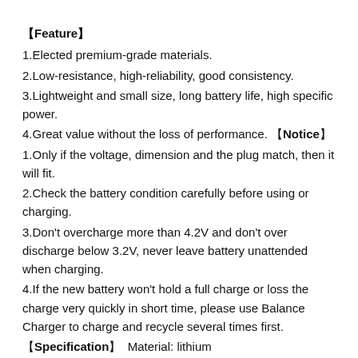【Feature】
1.Elected premium-grade materials.
2.Low-resistance, high-reliability, good consistency.
3.Lightweight and small size, long battery life, high specific power.
4.Great value without the loss of performance. 【Notice】
1.Only if the voltage, dimension and the plug match, then it will fit.
2.Check the battery condition carefully before using or charging.
3.Don't overcharge more than 4.2V and don't over discharge below 3.2V, never leave battery unattended when charging.
4.If the new battery won't hold a full charge or loss the charge very quickly in short time, please use Balance Charger to charge and recycle several times first.
【Specification】  Material: lithium